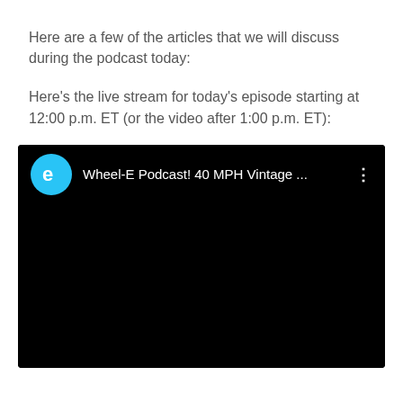Here are a few of the articles that we will discuss during the podcast today:
Here's the live stream for today's episode starting at 12:00 p.m. ET (or the video after 1:00 p.m. ET):
[Figure (screenshot): Embedded video player screenshot with black background. Top bar shows a cyan circular channel icon with letter 'e', title text 'Wheel-E Podcast! 40 MPH Vintage ...' in white, and a vertical three-dot menu icon on the right. The main video area is black.]